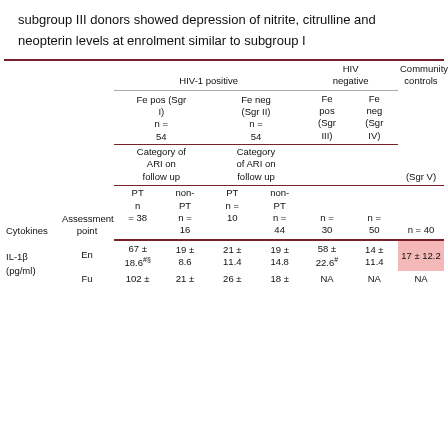subgroup III donors showed depression of nitrite, citrulline and neopterin levels at enrolment similar to subgroup I
| Cytokines | Assessment point | Fe pos (Sgr I) n=54 PT n=38 | Fe pos (Sgr I) n=54 non-PT n=16 | Fe neg (Sgr II) n=54 PT n=10 | Fe neg (Sgr II) n=54 non-PT n=44 | Fe pos (Sgr III) n=30 | Fe neg (Sgr IV) n=50 | Community controls (Sgr V) n=40 |
| --- | --- | --- | --- | --- | --- | --- | --- | --- |
| IL-1β (pg/ml) | En | 67 ± 18.6#§ | 19 ± 8.6 | 21 ± 11.4 | 19 ± 14.8 | 58 ± 22.6# | 14 ± 11.4 | 17 ± 12.2 |
| IL-1β (pg/ml) | Fu | 102 ± | 21 ± | 26 ± | 18 ± | NA | NA | NA |